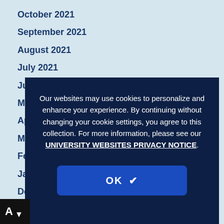October 2021
September 2021
August 2021
July 2021
June 2021
May 2021
April 2021
March 2021
February 2021
January 2021
December 2020
October 2020
September 2020
Our websites may use cookies to personalize and enhance your experience. By continuing without changing your cookie settings, you agree to this collection. For more information, please see our UNIVERSITY WEBSITES PRIVACY NOTICE.